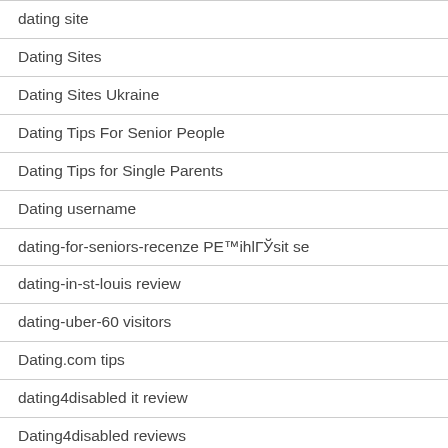dating site
Dating Sites
Dating Sites Ukraine
Dating Tips For Senior People
Dating Tips for Single Parents
Dating username
dating-for-seniors-recenze PЕ™ihlГЎsit se
dating-in-st-louis review
dating-uber-60 visitors
Dating.com tips
dating4disabled it review
Dating4disabled reviews
Dating4disabled visitors